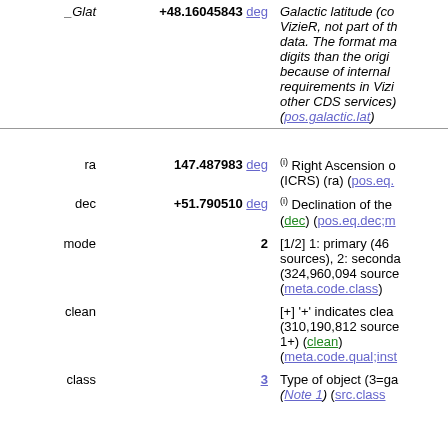| Name | Value | Description |
| --- | --- | --- |
| _Glat | +48.16045843 deg | Galactic latitude (computed by VizieR, not part of the original data. The format may include more digits than the original data because of internal accuracy requirements in VizieR and other CDS services) (pos.galactic.lat) |
| ra | 147.487983 deg | (i) Right Ascension of the source (ICRS) (ra) (pos.eq.ra;meta.main) |
| dec | +51.790510 deg | (i) Declination of the source (ICRS) (dec) (pos.eq.dec;meta.main) |
| mode | 2 | [1/2] 1: primary (469,053,874 sources), 2: secondary (324,960,094 sources) (meta.code.class) |
| clean |  | [+] '+' indicates clean photometry (310,190,812 sources with mode 1+) (clean) (meta.code.qual;instr.det.psf) |
| class | 3 | Type of object (3=galaxy) (Note 1) (src.class) |